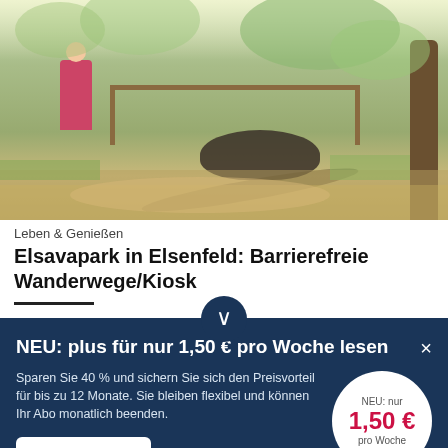[Figure (photo): Outdoor park scene with a child in pink jacket, wooden fence structure, a dark animal in background, and a large tree trunk on the right. Sunlit green area.]
Leben & Genießen
Elsavapark in Elsenfeld: Barrierefreie Wanderwege/Kiosk
NEU: plus für nur 1,50 € pro Woche lesen
Sparen Sie 40 % und sichern Sie sich den Preisvorteil für bis zu 12 Monate. Sie bleiben flexibel und können Ihr Abo monatlich beenden.
Jetzt sparen
NEU: nur 1,50 € pro Woche